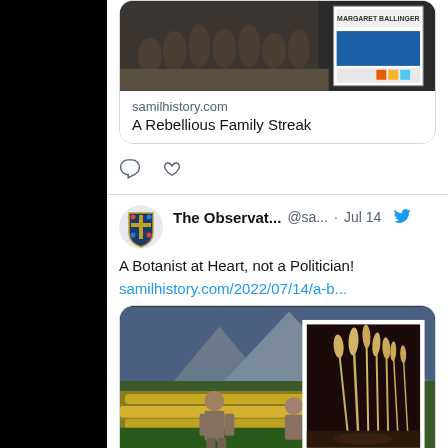[Figure (screenshot): Twitter/social media feed screenshot showing two tweets. First tweet bottom portion shows a link card for samilhistory.com 'A Rebellious Family Streak'. Second tweet from 'The Observat...' @sa... Jul 14 about 'A Botanist at Heart, not a Politician!' with link to samilhistory.com/2022/07/14/a-b... and an image of a man among yellow flowers with a botanical plant inset.]
samilhistory.com
A Rebellious Family Streak
The Observat... @sa... · Jul 14
A Botanist at Heart, not a Politician!
samilhistory.com/2022/07/14/a-b...
samilhistory.com
A Botanist at Heart, not a Politicia...